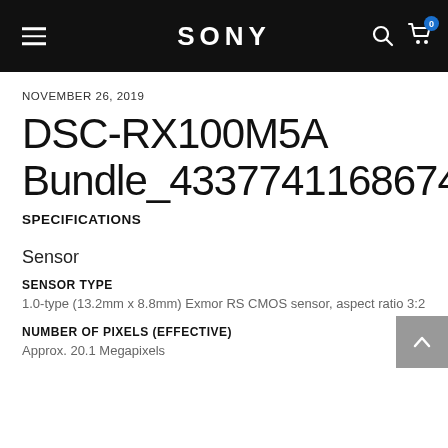SONY
NOVEMBER 26, 2019
DSC-RX100M5A Bundle_4337741168674
SPECIFICATIONS
Sensor
SENSOR TYPE
1.0-type (13.2mm x 8.8mm) Exmor RS CMOS sensor, aspect ratio 3:2
NUMBER OF PIXELS (EFFECTIVE)
Approx. 20.1 Megapixels